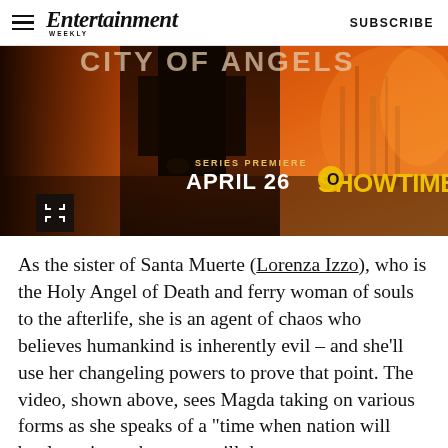Entertainment Weekly  SUBSCRIBE
[Figure (photo): Promotional image for a Showtime series premiere on April 26, showing a dark moody figure in the foreground with orange/red fiery background and text reading 'SERIES PREMIERE APRIL 26 SHOWTIME']
As the sister of Santa Muerte (Lorenza Izzo), who is the Holy Angel of Death and ferry woman of souls to the afterlife, she is an agent of chaos who believes humankind is inherently evil – and she'll use her changeling powers to prove that point. The video, shown above, sees Magda taking on various forms as she speaks of a "time when nation will battle nation, when race will devour